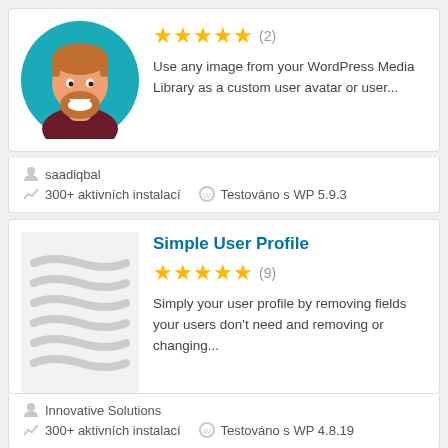[Figure (illustration): Plugin card 1: circular avatar illustration of a bearded man with star rating (2) and description text, author saadiqbal, 300+ aktivních instalací, Testováno s WP 5.9.3]
Use any image from your WordPress Media Library as a custom user avatar or user...
saadiqbal
300+ aktivních instalací
Testováno s WP 5.9.3
Simple User Profile
Simply your user profile by removing fields your users don't need and removing or changing...
Innovative Solutions
300+ aktivních instalací
Testováno s WP 4.8.19